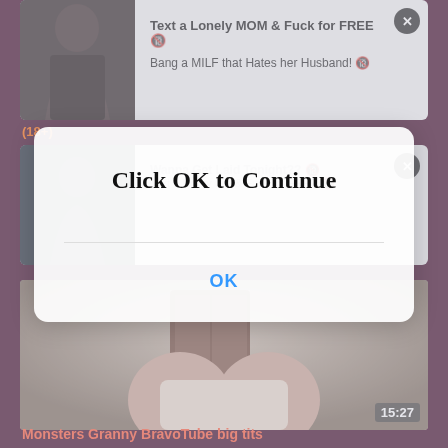[Figure (screenshot): Adult ad banner with thumbnail image of woman and text: Text a Lonely MOM & Fuck for FREE / Bang a MILF that Hates her Husband!]
(18+)
[Figure (screenshot): Second adult ad banner with thumbnail and partially visible text: Wanna Get Laid Tonight?? / Text a Horny Girl & Fuck for FREE]
[Figure (screenshot): Main video thumbnail showing lower body, with timestamp 15:27]
Monsters Granny BravoTube big tits
[Figure (screenshot): Modal dialog overlay with text: Click OK to Continue, and OK button]